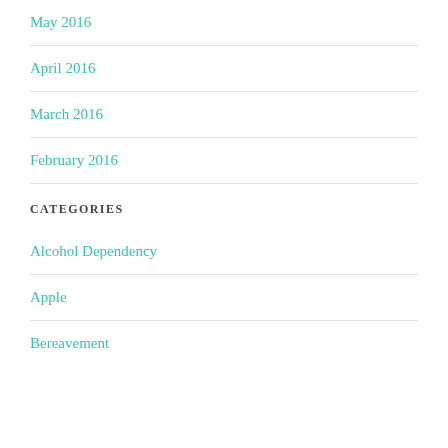May 2016
April 2016
March 2016
February 2016
CATEGORIES
Alcohol Dependency
Apple
Bereavement